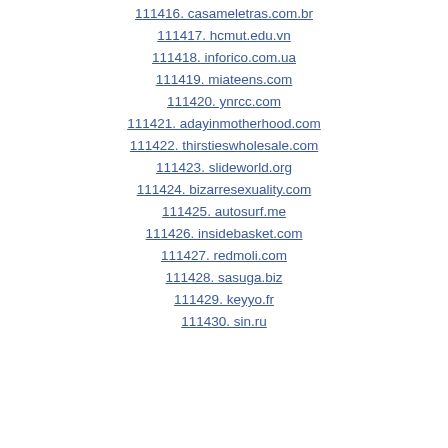111416. casameletras.com.br
111417. hcmut.edu.vn
111418. inforico.com.ua
111419. miateens.com
111420. ynrcc.com
111421. adayinmotherhood.com
111422. thirstieswholesale.com
111423. slideworld.org
111424. bizarresexuality.com
111425. autosurf.me
111426. insidebasket.com
111427. redmoli.com
111428. sasuga.biz
111429. keyyo.fr
111430. sin.ru